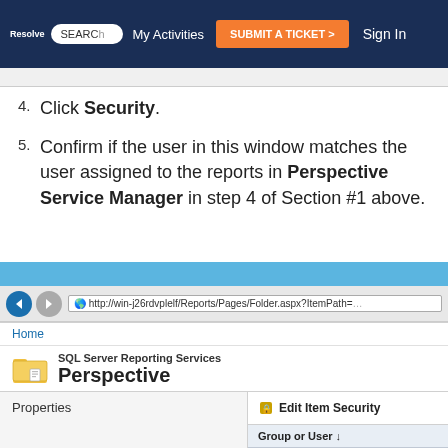Resolve SEARCH | My Activities | SUBMIT A TICKET > | Sign In
Click Security.
Confirm if the user in this window matches the user assigned to the reports in Perspective Service Manager in step 4 of Section #1 above.
[Figure (screenshot): Screenshot of SQL Server Reporting Services showing the Perspective folder, with Edit Item Security panel open and Group or User column showing BUILTIN\Administrators]